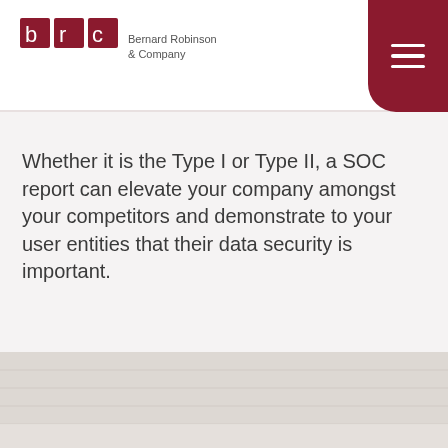Bernard Robinson & Company
Whether it is the Type I or Type II, a SOC report can elevate your company amongst your competitors and demonstrate to your user entities that their data security is important.